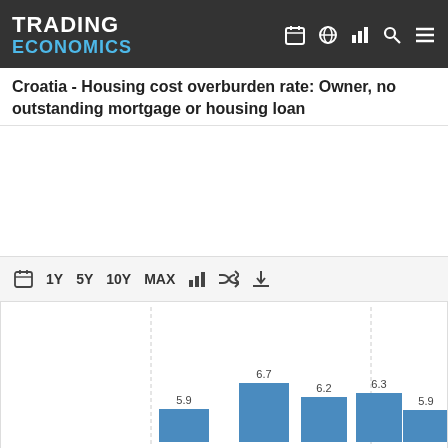TRADING ECONOMICS
Croatia - Housing cost overburden rate: Owner, no outstanding mortgage or housing loan
[Figure (bar-chart): Croatia - Housing cost overburden rate: Owner, no outstanding mortgage or housing loan]